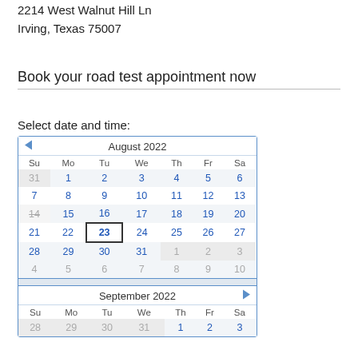2214 West Walnut Hill Ln
Irving, Texas 75007
Book your road test appointment now
Select date and time:
[Figure (other): Interactive calendar widget showing August 2022 and September 2022 for selecting a road test appointment date. August 2022 calendar shows dates 1-31 with 14 struck through and 23 outlined. September 2022 calendar shows beginning row with 28, 29, 30, 31, 1, 2, 3.]